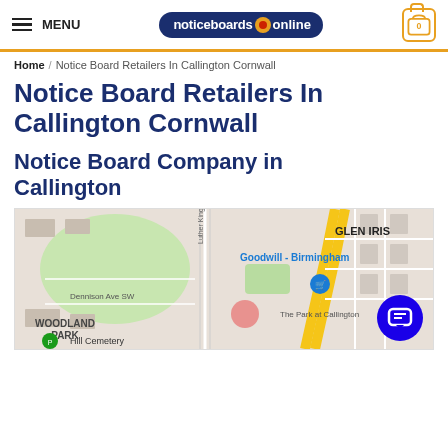MENU | noticeboards online | 0
Home / Notice Board Retailers In Callington Cornwall
Notice Board Retailers In Callington Cornwall
Notice Board Company in Callington
[Figure (map): Google map showing area around Callington with labels: GLEN IRIS, Goodwill - Birmingham, Dennison Ave SW, WOODLAND PARK, Hill Cemetery, The Park at Callington]